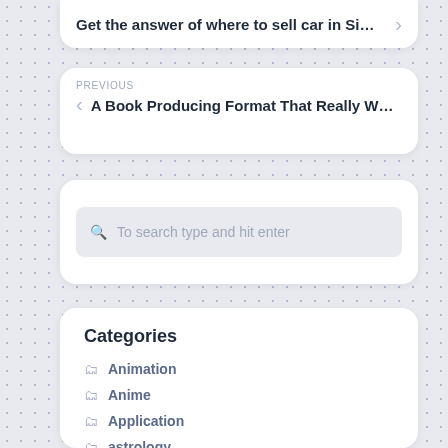Get the answer of where to sell car in Si…
PREVIOUS
A Book Producing Format That Really W…
To search type and hit enter
Categories
Animation
Anime
Application
astrology